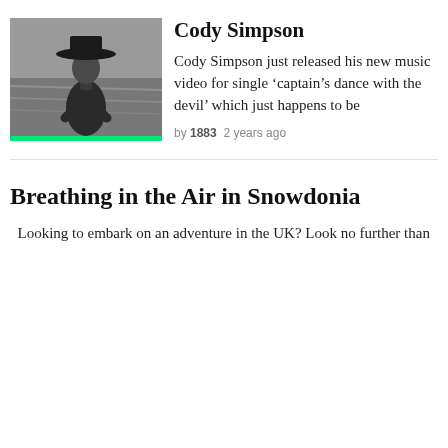[Figure (photo): Black and white photo of Cody Simpson shirtless wearing a wide-brim cowboy hat, bent forward in water or rugged landscape]
Cody Simpson
Cody Simpson just released his new music video for single ‘captain’s dance with the devil’ which just happens to be
by 1883  2 years ago
Breathing in the Air in Snowdonia
Looking to embark on an adventure in the UK? Look no further than